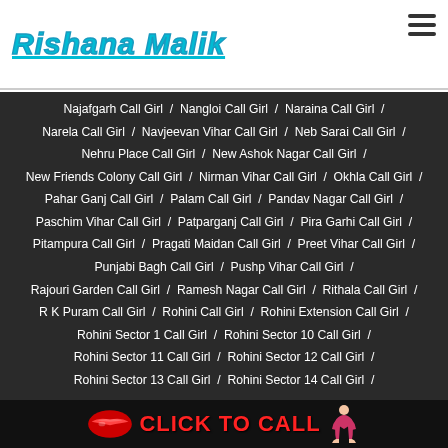Rishana Malik
Najafgarh Call Girl / Nangloi Call Girl / Naraina Call Girl / Narela Call Girl / Navjeevan Vihar Call Girl / Neb Sarai Call Girl / Nehru Place Call Girl / New Ashok Nagar Call Girl / New Friends Colony Call Girl / Nirman Vihar Call Girl / Okhla Call Girl / Pahar Ganj Call Girl / Palam Call Girl / Pandav Nagar Call Girl / Paschim Vihar Call Girl / Patparganj Call Girl / Pira Garhi Call Girl / Pitampura Call Girl / Pragati Maidan Call Girl / Preet Vihar Call Girl / Punjabi Bagh Call Girl / Pushp Vihar Call Girl / Rajouri Garden Call Girl / Ramesh Nagar Call Girl / Rithala Call Girl / R K Puram Call Girl / Rohini Call Girl / Rohini Extension Call Girl / Rohini Sector 1 Call Girl / Rohini Sector 10 Call Girl / Rohini Sector 11 Call Girl / Rohini Sector 12 Call Girl / Rohini Sector 13 Call Girl / Rohini Sector 14 Call Girl /
[Figure (infographic): Red lips icon on left, bold red CLICK TO CALL text in center, illustrated lady figure on right, on black background banner]